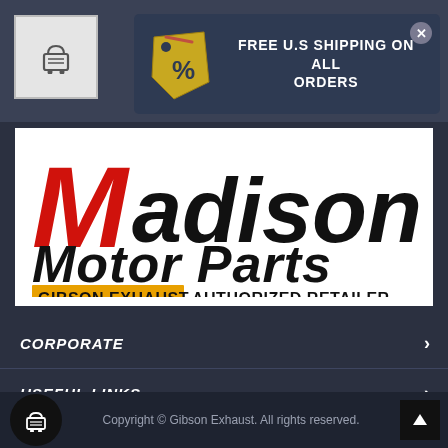[Figure (screenshot): Shopping cart icon in a light grey bordered box]
[Figure (infographic): Promotional banner with percent tag icon and text FREE U.S SHIPPING ON ALL ORDERS, with close X button]
[Figure (logo): Madison Motor Parts logo with red M, black text, and Gibson Exhaust Authorized Retailer tagline]
CORPORATE
USEFUL LINKS
Support
Copyright © Gibson Exhaust. All rights reserved.